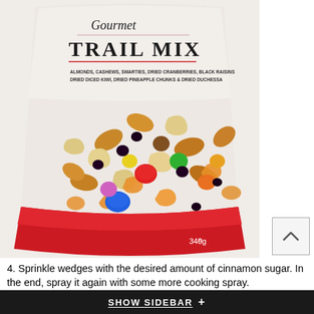[Figure (photo): Product photo of a Gourmet Trail Mix bag containing almonds, cashews, smarties, dried cranberries, black raisins, dried diced kiwi, dried pineapple chunks & dried duchessa. The bag is white with a red bottom stripe and shows a colorful mix of nuts, dried fruits, and candy-coated chocolates.]
4. Sprinkle wedges with the desired amount of cinnamon sugar. In the end, spray it again with some more cooking spray.
5. Bake in a pre-heated oven for about 8 to 10 minutes. Repeat it with any remaining tortilla wedges. Allow it to cool approximately 15 minutes and then serve it with a mixture of cold fruits from the fridge.
SHOW SIDEBAR +